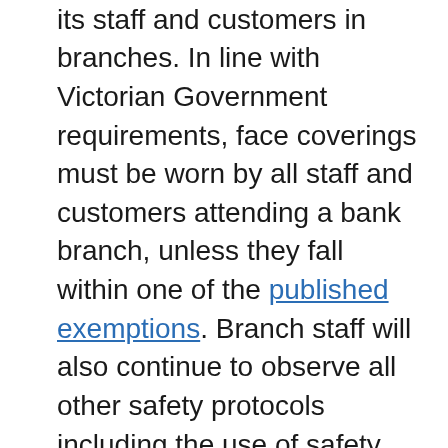the safety and wellbeing of its staff and customers in branches. In line with Victorian Government requirements, face coverings must be worn by all staff and customers attending a bank branch, unless they fall within one of the published exemptions. Branch staff will also continue to observe all other safety protocols including the use of safety screens, physical distancing and hygiene measures. Customers are required to comply with the appropriate safety guidelines.
Rural Bank staff will remain accessible to customers via phone, video phone applications - such as Facetime - Bendigo Bank branch appointments or outdoors, on farm.
“Since the onset of COVID-19, our branches have, wherever possible, remained open to support our customers and their communities. We have clear safety measures in place and will continue to assess the level